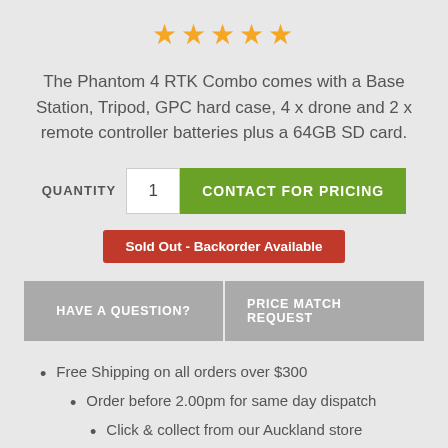[Figure (other): Five gold star rating icons displayed in a row]
The Phantom 4 RTK Combo comes with a Base Station, Tripod, GPC hard case, 4 x drone and 2 x remote controller batteries plus a 64GB SD card.
QUANTITY  1  CONTACT FOR PRICING
Sold Out - Backorder Available
HAVE A QUESTION?   PRICE MATCH REQUEST
Free Shipping on all orders over $300
Order before 2.00pm for same day dispatch
Click & collect from our Auckland store
Local warranty, support and repairs